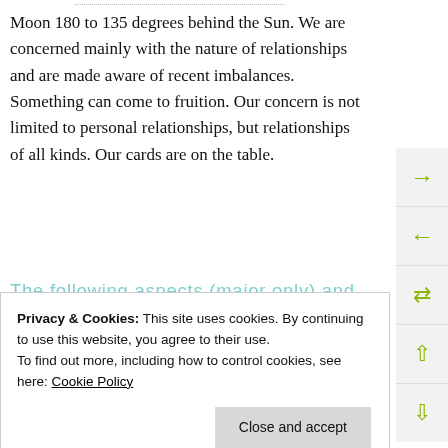Moon 180 to 135 degrees behind the Sun. We are concerned mainly with the nature of relationships and are made aware of recent imbalances. Something can come to fruition. Our concern is not limited to personal relationships, but relationships of all kinds. Our cards are on the table.
The following aspects (major only) and positions are at noon (EST) on February 24th:
Privacy & Cookies: This site uses cookies. By continuing to use this website, you agree to their use.
To find out more, including how to control cookies, see here: Cookie Policy
Close and accept
involved, the aspect will have perfected, or will